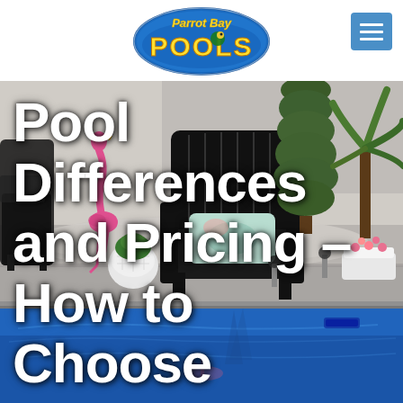[Figure (logo): Parrot Bay Pools logo — oval badge with parrot, yellow stylized 'POOLS' text, decorative script 'Parrot Bay']
[Figure (photo): Outdoor pool area with a black Adirondack chair, pink flamingo yard ornament, tall cypress tree, tropical plants, white gravel landscaping, and a bright blue swimming pool in the foreground]
Pool Differences and Pricing – How to Choose